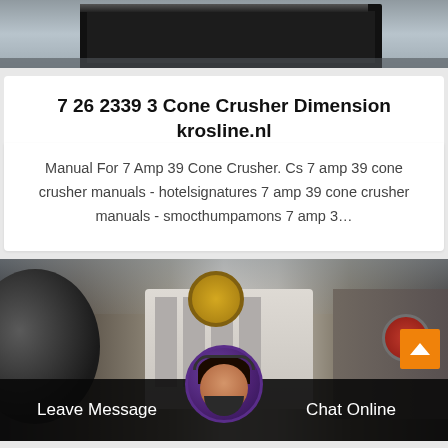[Figure (photo): Top portion of industrial machinery (cone crusher frame) in a factory setting, dark metal frame structure visible against grey background]
7 26 2339 3 Cone Crusher Dimension krosline.nl
Manual For 7 Amp 39 Cone Crusher. Cs 7 amp 39 cone crusher manuals - hotelsignatures 7 amp 39 cone crusher manuals - smocthumpamons 7 amp 3…
[Figure (photo): Industrial jaw crusher and related heavy machinery in a factory/warehouse setting. Shows large black cylindrical roller on left, white jaw crusher body in center, and crusher with red flywheel on right. Factory ceiling visible in background.]
Leave Message
Chat Online